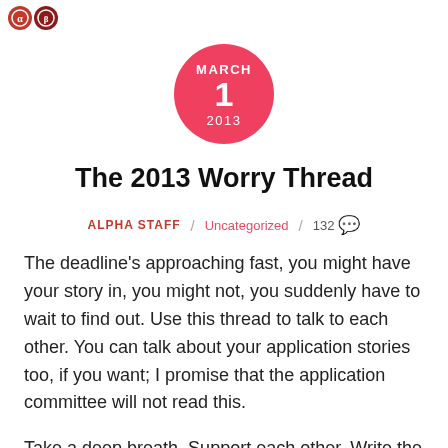[Figure (logo): Website logo with two circular emblem icons in red/dark red]
The 2013 Worry Thread
ALPHA STAFF / Uncategorized / 132 💬
The deadline's approaching fast, you might have your story in, you might not, you suddenly have to wait to find out. Use this thread to talk to each other. You can talk about your application stories too, if you want; I promise that the application committee will not read this.
Take a deep breath. Support each other. Write the